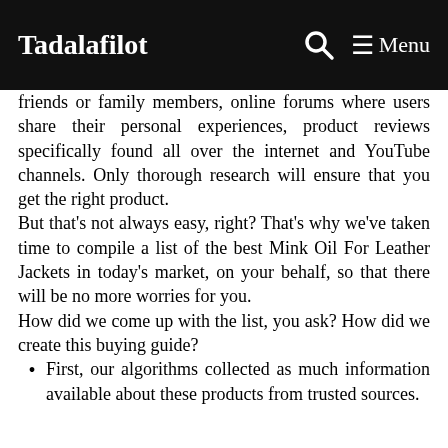Tadalafilot Menu
friends or family members, online forums where users share their personal experiences, product reviews specifically found all over the internet and YouTube channels. Only thorough research will ensure that you get the right product.
But that's not always easy, right? That's why we've taken time to compile a list of the best Mink Oil For Leather Jackets in today's market, on your behalf, so that there will be no more worries for you.
How did we come up with the list, you ask? How did we create this buying guide?
First, our algorithms collected as much information available about these products from trusted sources.